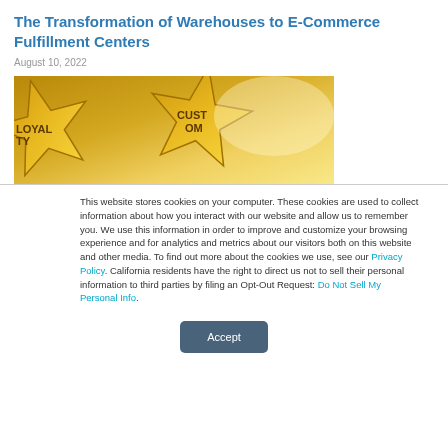The Transformation of Warehouses to E-Commerce Fulfillment Centers
August 10, 2022
[Figure (photo): Gold star-shaped award badges with text LOYALTY and CUSTOM on a golden background]
This website stores cookies on your computer. These cookies are used to collect information about how you interact with our website and allow us to remember you. We use this information in order to improve and customize your browsing experience and for analytics and metrics about our visitors both on this website and other media. To find out more about the cookies we use, see our Privacy Policy. California residents have the right to direct us not to sell their personal information to third parties by filing an Opt-Out Request: Do Not Sell My Personal Info.
Accept